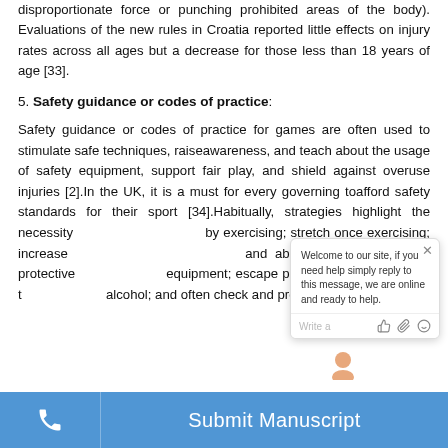disproportionate force or punching prohibited areas of the body). Evaluations of the new rules in Croatia reported little effects on injury rates across all ages but a decrease for those less than 18 years of age [33].
5. Safety guidance or codes of practice:
Safety guidance or codes of practice for games are often used to stimulate safe techniques, raiseawareness, and teach about the usage of safety equipment, support fair play, and shield against overuse injuries [2].In the UK, it is a must for every governing toafford safety standards for their sport [34].Habitually, strategies highlight the necessity of warming up by exercising; stretch once exercising; increase training load and abilityprogressively; dress protective and safety equipment; escape playing if unwell or under the effects of alcohol; and often check and provide sport equipment.
[Figure (screenshot): Chat widget overlay with message: 'Welcome to our site, if you need help simply reply to this message, we are online and ready to help.' with close button, avatar, and input bar with Write a, thumbs up, paperclip, smiley icons.]
Submit Manuscript